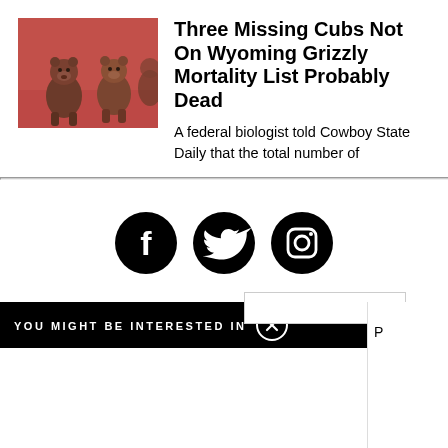[Figure (photo): Two grizzly bear cubs standing facing the camera on sandy/rocky ground, reddish-tinted photo]
Three Missing Cubs Not On Wyoming Grizzly Mortality List Probably Dead
A federal biologist told Cowboy State Daily that the total number of
[Figure (infographic): Social media icons: Facebook, Twitter, Instagram — black circular icons]
YOU MIGHT BE INTERESTED IN